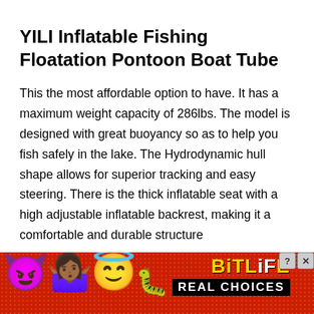YILI Inflatable Fishing Floatation Pontoon Boat Tube
This the most affordable option to have. It has a maximum weight capacity of 286lbs. The model is designed with great buoyancy so as to help you fish safely in the lake. The Hydrodynamic hull shape allows for superior tracking and easy steering. There is the thick inflatable seat with a high adjustable inflatable backrest, making it a comfortable and durable structure
[Figure (infographic): Advertisement banner for BitLife game with emoji characters (devil, woman shrugging, angel face) on a red dotted background, BitLife logo in yellow/white text, and 'REAL CHOICES' in white text on black background. Close/help buttons in top right.]